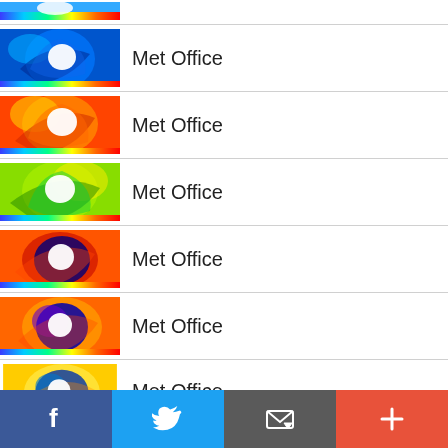[Figure (screenshot): Mobile app list view showing multiple Met Office weather map entries, each with a colorful cyclone/weather thumbnail and 'Met Office' label, plus a partial first item at top. Bottom toolbar has Facebook, Twitter, Email and plus buttons.]
Met Office
Met Office
Met Office
Met Office
Met Office
Met Office